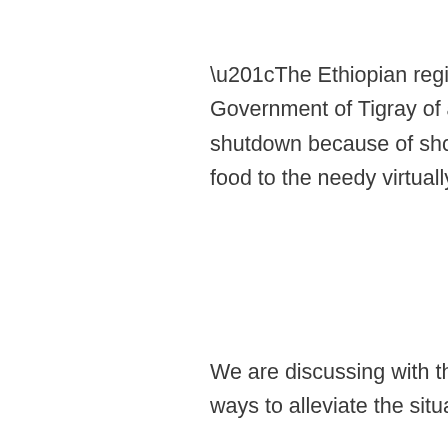“The Ethiopian regime is making specious claims about the blocking by the Government of Tigray of aid flights to/from Mekelle. The airport is temporarily shutdown because of shortage of fuel, the same problem that has made distribution of food to the needy virtually impossible.
We are discussing with the Humanitarian organizations using the airport on possible ways to alleviate the situation.